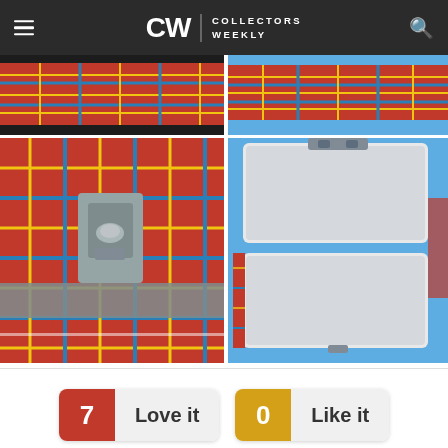CW | COLLECTORS WEEKLY
[Figure (photo): Top-left: close-up of red tartan plaid lunchbox exterior edge]
[Figure (photo): Top-right: close-up of red tartan plaid lunchbox exterior edge on teal background]
[Figure (photo): Bottom-left: close-up of the metal latch/clasp on a red tartan plaid lunchbox]
[Figure (photo): Bottom-right: open red tartan plaid metal lunchbox showing grey interior, open lid]
7  Love it
0  Like it